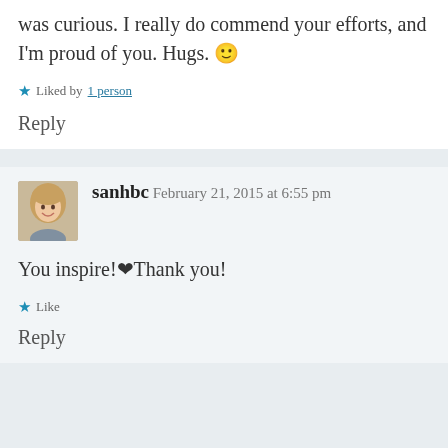was curious. I really do commend your efforts, and I'm proud of you. Hugs. 🙂
Liked by 1 person
Reply
sanhbc  February 21, 2015 at 6:55 pm
You inspire!❤Thank you!
Like
Reply